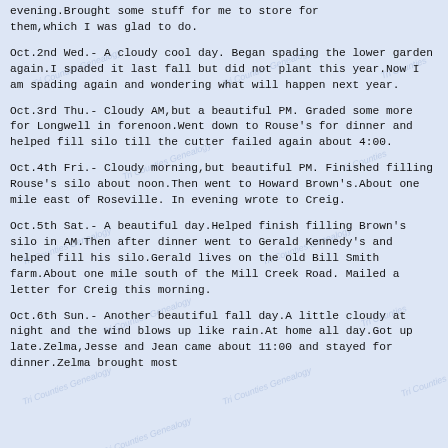evening.Brought some stuff for me to store for them,which I was glad to do.
Oct.2nd Wed.- A cloudy cool day. Began spading the lower garden again.I spaded it last fall but did not plant this year.Now I am spading again and wondering what will happen next year.
Oct.3rd Thu.- Cloudy AM,but a beautiful PM. Graded some more for Longwell in forenoon.Went down to Rouse's for dinner and helped fill silo till the cutter failed again about 4:00.
Oct.4th Fri.- Cloudy morning,but beautiful PM. Finished filling Rouse's silo about noon.Then went to Howard Brown's.About one mile east of Roseville. In evening wrote to Creig.
Oct.5th Sat.- A beautiful day.Helped finish filling Brown's silo in AM.Then after dinner went to Gerald Kennedy's and helped fill his silo.Gerald lives on the old Bill Smith farm.About one mile south of the Mill Creek Road. Mailed a letter for Creig this morning.
Oct.6th Sun.- Another beautiful fall day.A little cloudy at night and the wind blows up like rain.At home all day.Got up late.Zelma,Jesse and Jean came about 11:00 and stayed for dinner.Zelma brought most